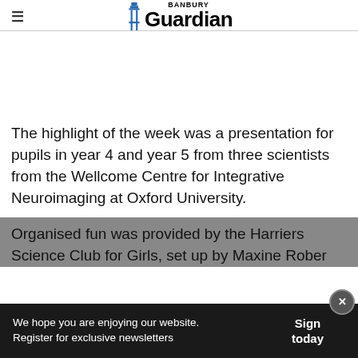Banbury Guardian
The highlight of the week was a presentation for pupils in year 4 and year 5 from three scientists from the Wellcome Centre for Integrative Neuroimaging at Oxford University.
Organised fun was provided by the Harriers Science Club for Girls, set up by Maxine Rober...
We hope you are enjoying our website. Register for exclusive newsletters
Sign today